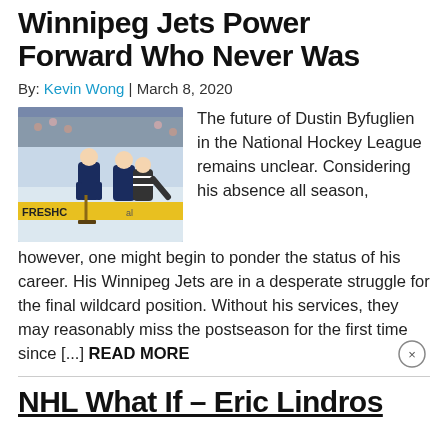Winnipeg Jets Power Forward Who Never Was
By: Kevin Wong | March 8, 2020
[Figure (photo): Hockey players on ice, including a referee bending down, with a yellow arena banner reading FRESHC in the background.]
The future of Dustin Byfuglien in the National Hockey League remains unclear. Considering his absence all season, however, one might begin to ponder the status of his career. His Winnipeg Jets are in a desperate struggle for the final wildcard position. Without his services, they may reasonably miss the postseason for the first time since [...] READ MORE
NHL What If – Eric Lindros